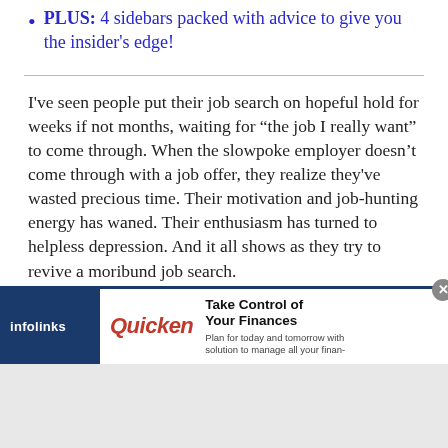PLUS: 4 sidebars packed with advice to give you the insider's edge!
I've seen people put their job search on hopeful hold for weeks if not months, waiting for “the job I really want” to come through. When the slowpoke employer doesn’t come through with a job offer, they realize they've wasted precious time. Their motivation and job-hunting energy has waned. Their enthusiasm has turned to helpless depression. And it all shows as they try to revive a moribund job search.
[Figure (screenshot): Advertisement banner: Infolinks label on left, Quicken logo in red italic, headline 'Take Control of Your Finances', subtext 'Plan for today and tomorrow with solution to manage all your finan-', close button (x) top right]